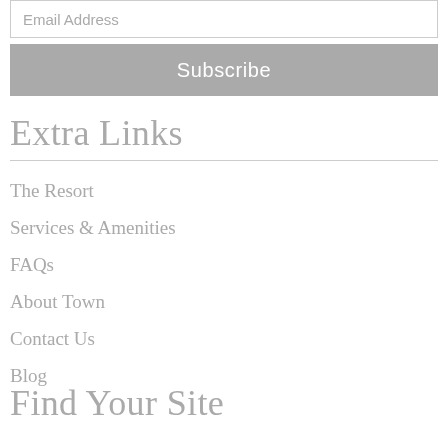Email Address
Subscribe
Extra Links
The Resort
Services & Amenities
FAQs
About Town
Contact Us
Blog
Find Your Site